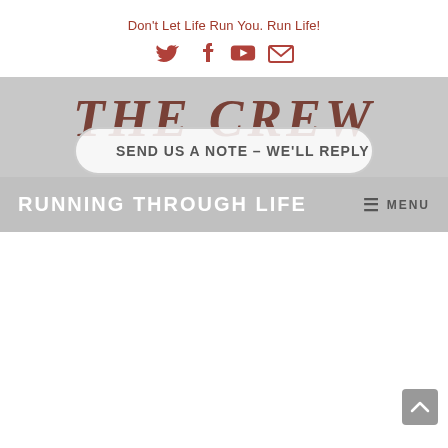Don't Let Life Run You. Run Life!
[Figure (logo): Social media icons: Twitter, Facebook, YouTube, Email]
THE CREW
SEND US A NOTE - WE'LL REPLY
RUNNING THROUGH LIFE
MENU
[Figure (other): Scroll to top button in bottom right corner]